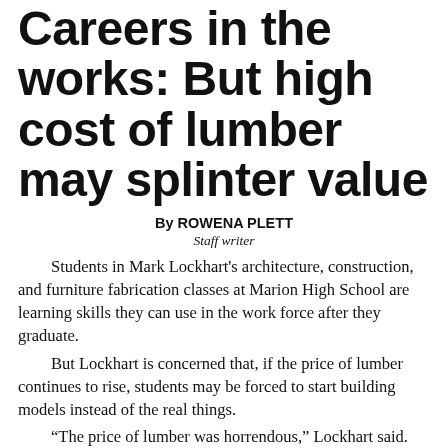Careers in the works: But high cost of lumber may splinter value
By ROWENA PLETT
Staff writer
Students in Mark Lockhart's architecture, construction, and furniture fabrication classes at Marion High School are learning skills they can use in the work force after they graduate.
But Lockhart is concerned that, if the price of lumber continues to rise, students may be forced to start building models instead of the real things.
“The price of lumber was horrendous,” Lockhart said. “A smaller backyard shed students built last year would cost twice as much now.”